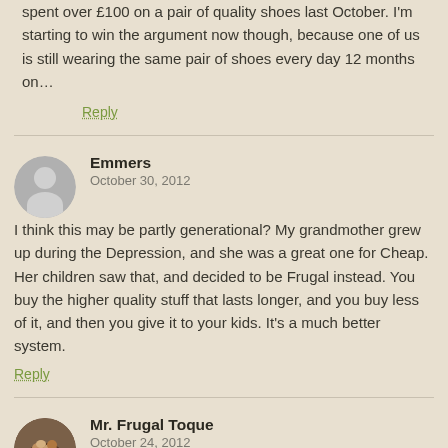I've had to repeatedly justify to my wife why I spent over £100 on a pair of quality shoes last October. I'm starting to win the argument now though, because one of us is still wearing the same pair of shoes every day 12 months on…
Reply
Emmers
October 30, 2012
I think this may be partly generational? My grandmother grew up during the Depression, and she was a great one for Cheap. Her children saw that, and decided to be Frugal instead. You buy the higher quality stuff that lasts longer, and you buy less of it, and then you give it to your kids. It's a much better system.
Reply
Mr. Frugal Toque
October 24, 2012
When we have company over, we go out of the way to make nice food.